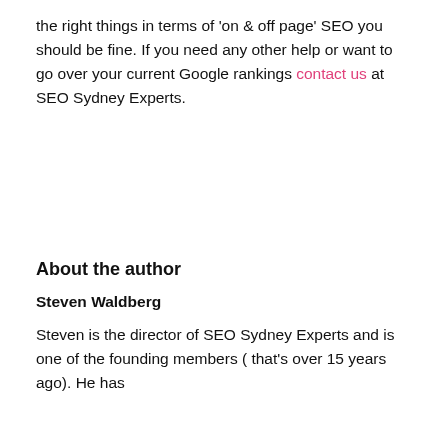the right things in terms of 'on & off page' SEO you should be fine. If you need any other help or want to go over your current Google rankings contact us at SEO Sydney Experts.
About the author
Steven Waldberg
Steven is the director of SEO Sydney Experts and is one of the founding members ( that's over 15 years ago). He has